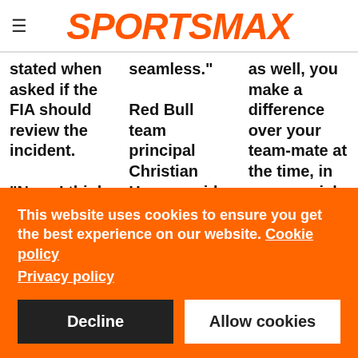SPORTSMAX
stated when asked if the FIA should review the incident.

"Now, I think what needs to be investigated for the safety of drivers and everybody out
seamless."

Red Bull team principal Christian Horner said no departure for Gasly would be sanctioned unless AlphaTauri could
as well, you make a difference over your team-mate at the time, in very crucial races as well.

"You end up winning a race like that and that is, at
This website uses cookies to ensure you get the best experience on our website. Cookie policy
Privacy policy
Decline
Allow cookies